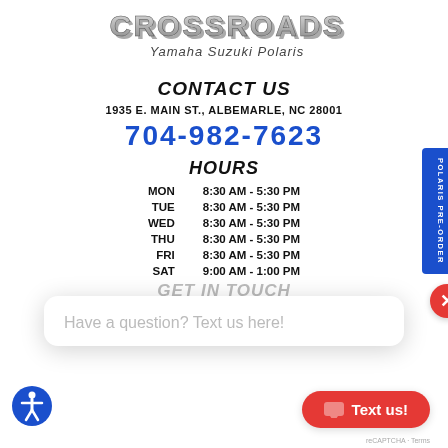[Figure (logo): Crossroads Yamaha Suzuki Polaris logo with stylized 3D text]
CONTACT US
1935 E. MAIN ST., ALBEMARLE, NC 28001
704-982-7623
HOURS
| Day | Hours |
| --- | --- |
| MON | 8:30 AM - 5:30 PM |
| TUE | 8:30 AM - 5:30 PM |
| WED | 8:30 AM - 5:30 PM |
| THU | 8:30 AM - 5:30 PM |
| FRI | 8:30 AM - 5:30 PM |
| SAT | 9:00 AM - 1:00 PM |
Have a question? Text us here!
GET IN TOUCH
[Figure (other): Social media icons: Facebook, Instagram, YouTube, and a watercraft/jet ski icon]
[Figure (other): Accessibility icon (wheelchair symbol) blue circle]
Text us!